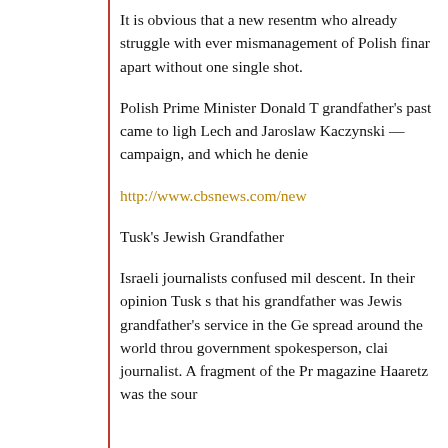It is obvious that a new resentm who already struggle with ever mismanagement of Polish finar apart without one single shot.
Polish Prime Minister Donald T grandfather's past came to ligh Lech and Jaroslaw Kaczynski — campaign, and which he denie
http://www.cbsnews.com/new
Tusk's Jewish Grandfather
Israeli journalists confused mil descent. In their opinion Tusk s that his grandfather was Jewis grandfather's service in the Ge spread around the world throu government spokesperson, clai journalist. A fragment of the Pr magazine Haaretz was the sour